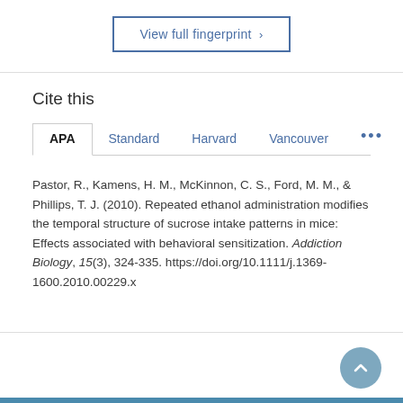View full fingerprint ›
Cite this
APA | Standard | Harvard | Vancouver | ...
Pastor, R., Kamens, H. M., McKinnon, C. S., Ford, M. M., & Phillips, T. J. (2010). Repeated ethanol administration modifies the temporal structure of sucrose intake patterns in mice: Effects associated with behavioral sensitization. Addiction Biology, 15(3), 324-335. https://doi.org/10.1111/j.1369-1600.2010.00229.x